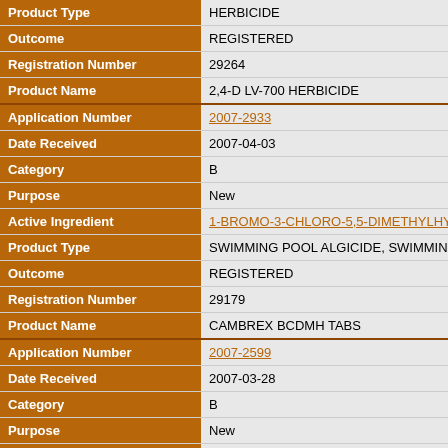| Field | Value |
| --- | --- |
| Product Type | HERBICIDE |
| Outcome | REGISTERED |
| Registration Number | 29264 |
| Product Name | 2,4-D LV-700 HERBICIDE |
| Application Number | 2007-2933 |
| Date Received | 2007-04-03 |
| Category | B |
| Purpose | New |
| Active Ingredient | 1-BROMO-3-CHLORO-5,5-DIMETHYLHYDANTOIN |
| Product Type | SWIMMING POOL ALGICIDE, SWIMMING POOL DISINFECTANT |
| Outcome | REGISTERED |
| Registration Number | 29179 |
| Product Name | CAMBREX BCDMH TABS |
| Application Number | 2007-2599 |
| Date Received | 2007-03-28 |
| Category | B |
| Purpose | New |
| Active Ingredient | VERBENONE |
| Product Type | INSECT REPELLENT |
| Outcome | REGISTERED |
| Registration Number | 29519 |
| Product Name | BEDOUKIAN (S)-VERBENONE TECHNICAL |